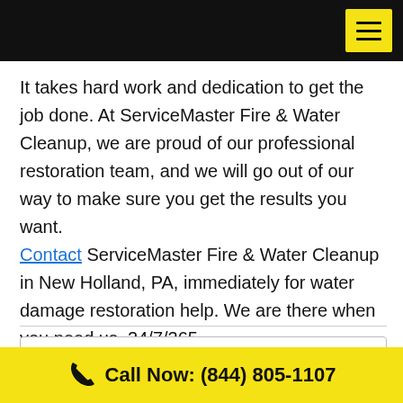[Navigation header with menu button]
It takes hard work and dedication to get the job done. At ServiceMaster Fire & Water Cleanup, we are proud of our professional restoration team, and we will go out of our way to make sure you get the results you want. Contact ServiceMaster Fire & Water Cleanup in New Holland, PA, immediately for water damage restoration help. We are there when you need us. 24/7/365
Call Now: (844) 805-1107